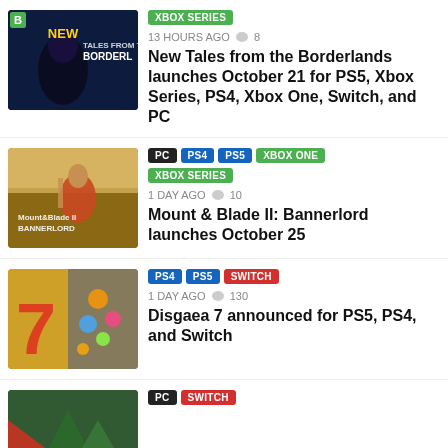[Figure (photo): New Tales from the Borderlands game screenshot thumbnail]
XBOX SERIES | 13 HOURS AGO | 8 comments | New Tales from the Borderlands launches October 21 for PS5, Xbox Series, PS4, Xbox One, Switch, and PC
[Figure (photo): Mount & Blade II Bannerlord game screenshot thumbnail]
PC | PS4 | PS5 | XBOX ONE | XBOX SERIES | 1 DAY AGO | 10 comments | Mount & Blade II: Bannerlord launches October 25
[Figure (photo): Disgaea 7 game artwork thumbnail]
PS4 | PS5 | SWITCH | 1 DAY AGO | 130 comments | Disgaea 7 announced for PS5, PS4, and Switch
[Figure (photo): Fourth news item game screenshot thumbnail]
PC | SWITCH